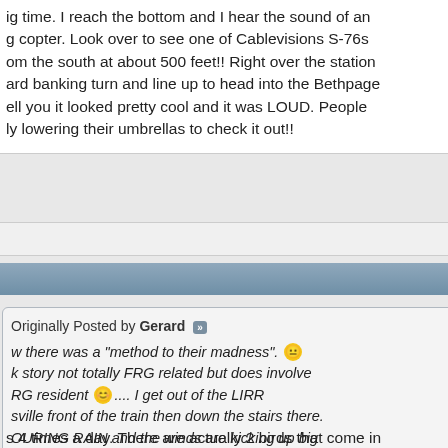ig time. I reach the bottom and I hear the sound of an g copter. Look over to see one of Cablevisions S-76s om the south at about 500 feet!! Right over the station ard banking turn and line up to head into the Bethpage ell you it looked pretty cool and it was LOUD. People ly lowering their umbrellas to check it out!!
Reply With Quote
#1901
Originally Posted by Gerard
ow there was a "method to their madness". 
k story not totally FRG related but does involve RG resident 
.... I get out of the LIRR sville front of the train then down the stairs there. OURING RAIN and the winds are kicking up big I reach the bottom and I hear the sound of an oaching copter. Look over to see one of evisions S-76s roaring in from the south at about feet!! Right over the station they do a hard ring turn and line up to head into the Bethpage Gotta tell you it looked pretty cool and it was D. People were actually lowering their umbrellas eck it out!!
s 4 times a day. There are actually 2 birds that come in